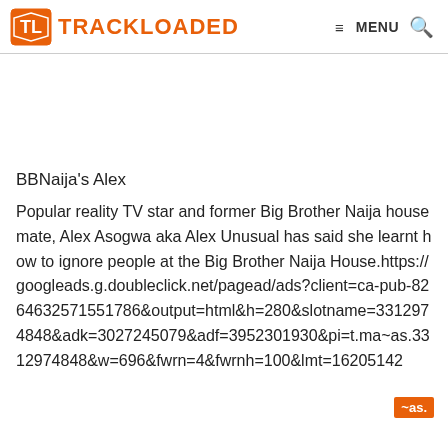TRACKLOADED | MENU
BBNaija's Alex
Popular reality TV star and former Big Brother Naija housemate, Alex Asogwa aka Alex Unusual has said she learnt how to ignore people at the Big Brother Naija House.https://googleads.g.doubleclick.net/pagead/ads?client=ca-pub-8264632571551786&output=html&h=280&slotname=3312974848&adk=3027245079&adf=3952301930&pi=t.ma~as.3312974848&w=696&fwrn=4&fwrnh=100&lmt=16205142